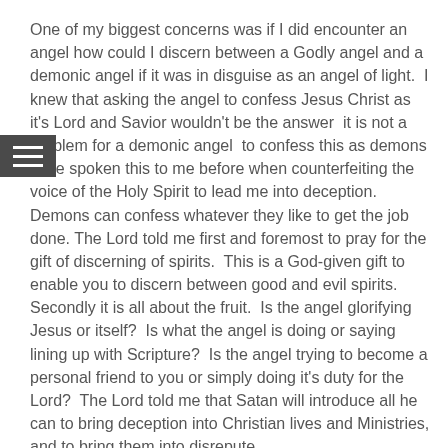One of my biggest concerns was if I did encounter an angel how could I discern between a Godly angel and a demonic angel if it was in disguise as an angel of light.  I knew that asking the angel to confess Jesus Christ as it's Lord and Savior wouldn't be the answer  it is not a problem for a demonic angel  to confess this as demons have spoken this to me before when counterfeiting the voice of the Holy Spirit to lead me into deception. Demons can confess whatever they like to get the job done. The Lord told me first and foremost to pray for the gift of discerning of spirits.  This is a God-given gift to enable you to discern between good and evil spirits.  Secondly it is all about the fruit.  Is the angel glorifying Jesus or itself?  Is what the angel is doing or saying lining up with Scripture?  Is the angel trying to become a personal friend to you or simply doing it's duty for the Lord?  The Lord told me that Satan will introduce all he can to bring deception into Christian lives and Ministries, and to bring them into disrepute.
The whole angelic movement that is moving into